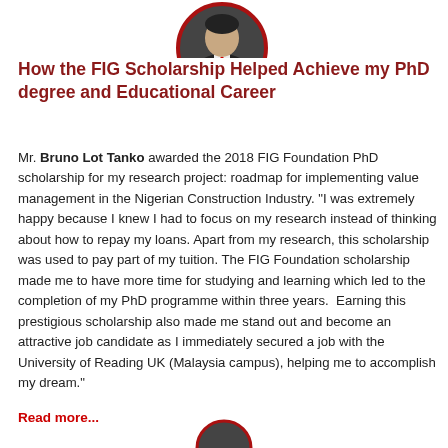[Figure (photo): Circular portrait photo of a man in a dark suit with a red tie, cropped at the top of the page]
How the FIG Scholarship Helped Achieve my PhD degree and Educational Career
Mr. Bruno Lot Tanko awarded the 2018 FIG Foundation PhD scholarship for my research project: roadmap for implementing value management in the Nigerian Construction Industry. "I was extremely happy because I knew I had to focus on my research instead of thinking about how to repay my loans. Apart from my research, this scholarship was used to pay part of my tuition. The FIG Foundation scholarship made me to have more time for studying and learning which led to the completion of my PhD programme within three years.  Earning this prestigious scholarship also made me stand out and become an attractive job candidate as I immediately secured a job with the University of Reading UK (Malaysia campus), helping me to accomplish my dream."
Read more...
[Figure (photo): Partial circular portrait photo at the bottom of the page, cropped]